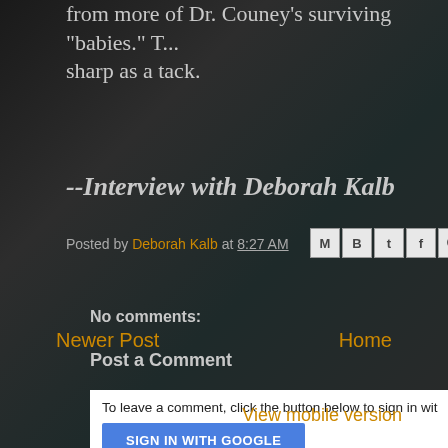from more of Dr. Couney's surviving babies. T... sharp as a tack.
--Interview with Deborah Kalb
Posted by Deborah Kalb at 8:27 AM
No comments:
Post a Comment
To leave a comment, click the button below to sign in with Google. SIGN IN WITH GOOGLE
Newer Post
Home
View mobile version